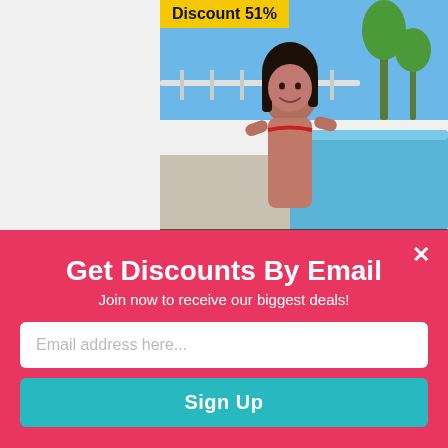[Figure (screenshot): Thumbnail image of a woman in a bikini by a pool, with 'Discount 51%' badge top-left and 'VR 3000' label at the bottom]
No download required. Stream porn right to your phone!
[Figure (screenshot): Email signup popup overlay with red background, close X button, title 'Get Discounts By Email', subtitle 'Join now to receive our biggest deals!', email input field, and Sign Up button]